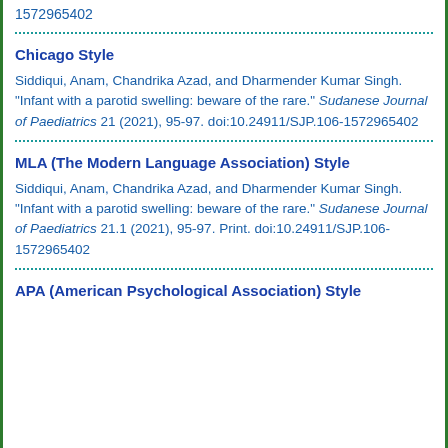1572965402
Chicago Style
Siddiqui, Anam, Chandrika Azad, and Dharmender Kumar Singh. "Infant with a parotid swelling: beware of the rare." Sudanese Journal of Paediatrics 21 (2021), 95-97. doi:10.24911/SJP.106-1572965402
MLA (The Modern Language Association) Style
Siddiqui, Anam, Chandrika Azad, and Dharmender Kumar Singh. "Infant with a parotid swelling: beware of the rare." Sudanese Journal of Paediatrics 21.1 (2021), 95-97. Print. doi:10.24911/SJP.106-1572965402
APA (American Psychological Association) Style